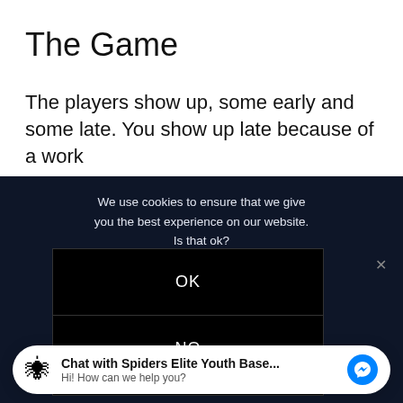The Game
The players show up, some early and some late. You show up late because of a work
[Figure (screenshot): Dark navy overlay with cookie consent dialog showing 'We use cookies to ensure that we give you the best experience on our website. Is that ok?' with OK and NO buttons in black boxes, and a close X button.]
[Figure (screenshot): Chat widget at bottom: spider icon, 'Chat with Spiders Elite Youth Base...' bold text, 'Hi! How can we help you?' subtext, and blue Messenger icon button.]